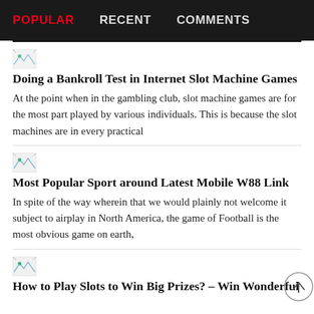POPULAR | RECENT | COMMENTS
[Figure (illustration): Small broken image thumbnail icon]
Doing a Bankroll Test in Internet Slot Machine Games
At the point when in the gambling club, slot machine games are for the most part played by various individuals. This is because the slot machines are in every practical
[Figure (illustration): Small broken image thumbnail icon]
Most Popular Sport around Latest Mobile W88 Link
In spite of the way wherein that we would plainly not welcome it subject to airplay in North America, the game of Football is the most obvious game on earth,
[Figure (illustration): Small broken image thumbnail icon]
How to Play Slots to Win Big Prizes? – Win Wonderful